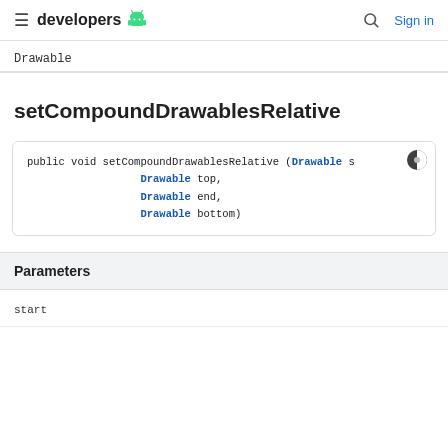≡ developers 🤖  🔍 Sign in
Drawable
setCompoundDrawablesRelative
public void setCompoundDrawablesRelative (Drawable start, Drawable top, Drawable end, Drawable bottom)
Parameters
start